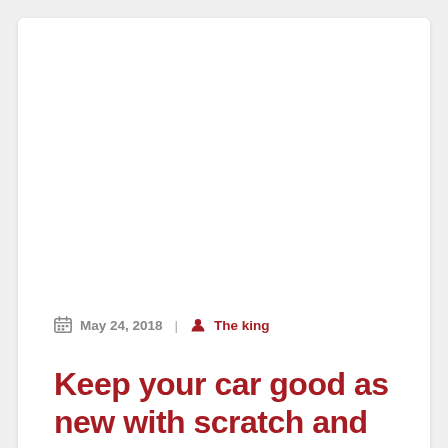May 24, 2018  |  The king
Keep your car good as new with scratch and dent insurance